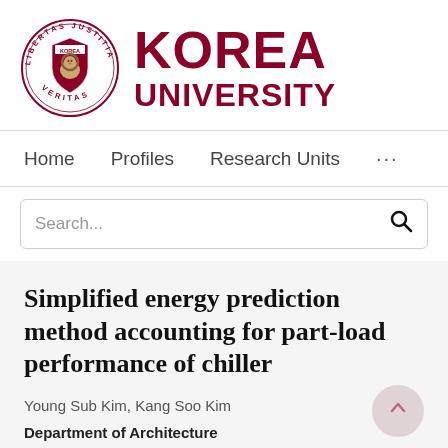[Figure (logo): Korea University logo: circular seal with text 'LIBERTAS JUSTITIA VERITAS' around the edge and a shield with a lion in the center, next to the text 'KOREA UNIVERSITY' in dark red/maroon bold font]
Home    Profiles    Research Units    ...
Search...
Simplified energy prediction method accounting for part-load performance of chiller
Young Sub Kim, Kang Soo Kim
Department of Architecture